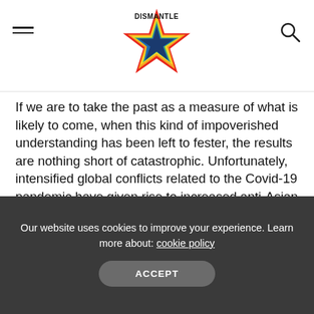DISMANTLE [logo with rainbow star]
If we are to take the past as a measure of what is likely to come, when this kind of impoverished understanding has been left to fester, the results are nothing short of catastrophic. Unfortunately, intensified global conflicts related to the Covid-19 pandemic have given rise to increased anti-Asian racism, other forms of structural racism—i.e., Black and Latinx people are dying disproportionately from the virus because of their previous economic circumstances—large-scale economic crisis, and isolationism.
Our website uses cookies to improve your experience. Learn more about: cookie policy
ACCEPT